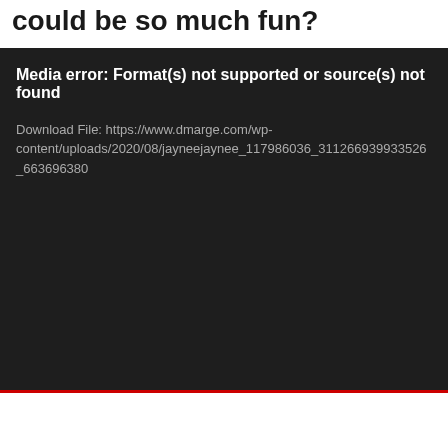could be so much fun?
[Figure (screenshot): A dark-themed media player error box displaying: 'Media error: Format(s) not supported or source(s) not found' and 'Download File: https://www.dmarge.com/wp-content/uploads/2020/08/jayneejaynee_117986036_311266939933526_663696380...' with a red bar at the bottom.]